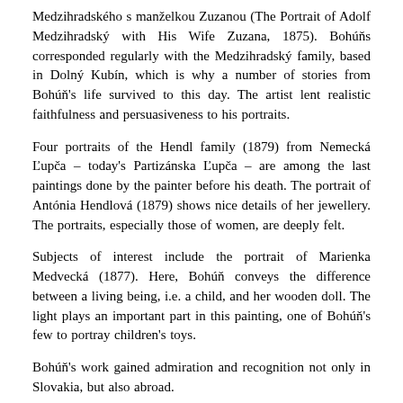Medzihradského s manželkou Zuzanou (The Portrait of Adolf Medzihradský with His Wife Zuzana, 1875). Bohúňs corresponded regularly with the Medzihradský family, based in Dolný Kubín, which is why a number of stories from Bohúň's life survived to this day. The artist lent realistic faithfulness and persuasiveness to his portraits.
Four portraits of the Hendl family (1879) from Nemecká Ľupča – today's Partizánska Ľupča – are among the last paintings done by the painter before his death. The portrait of Antónia Hendlová (1879) shows nice details of her jewellery. The portraits, especially those of women, are deeply felt.
Subjects of interest include the portrait of Marienka Medvecká (1877). Here, Bohúň conveys the difference between a living being, i.e. a child, and her wooden doll. The light plays an important part in this painting, one of Bohúň's few to portray children's toys.
Bohúň's work gained admiration and recognition not only in Slovakia, but also abroad.